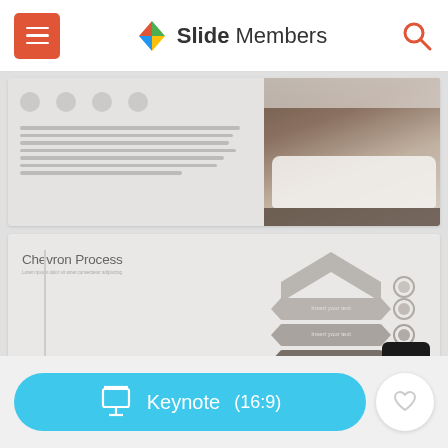[Figure (screenshot): Slide Members website header with hamburger menu button (red), Slide Members logo with colorful kite icon, bold 'Slide' and light 'Members' text, and search icon]
[Figure (screenshot): First slide thumbnail showing a presentation slide with icons row, text block on left and a bedroom/sleeping photo on the right]
[Figure (infographic): Second slide thumbnail showing a 'Chevron Process' presentation slide with stacked chevron arrows diagram on the right side and text on the left, plus a scroll-to-top button]
[Figure (screenshot): Bottom action bar with cyan/blue rounded button showing presentation icon, 'Keynote' label and '(16:9)' format, and a white circle heart/favorite button]